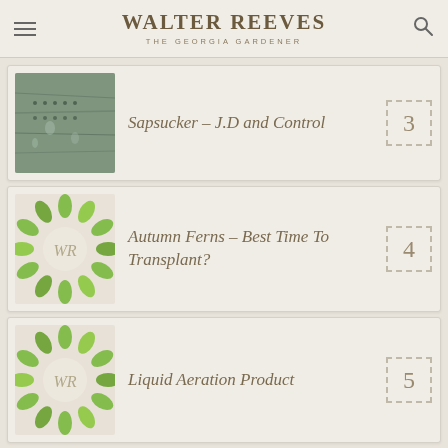Walter Reeves – The Georgia Gardener
Sapsucker – J.D and Control
Autumn Ferns – Best Time To Transplant?
Liquid Aeration Product